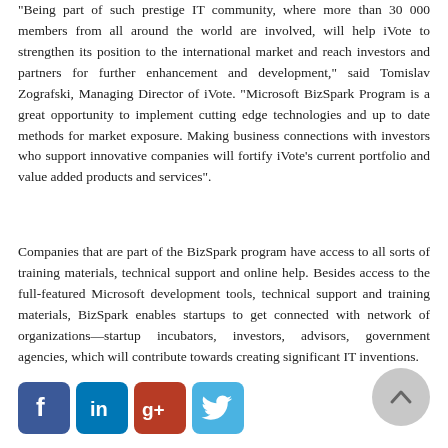"Being part of such prestige IT community, where more than 30 000 members from all around the world are involved, will help iVote to strengthen its position to the international market and reach investors and partners for further enhancement and development," said Tomislav Zografski, Managing Director of iVote. "Microsoft BizSpark Program is a great opportunity to implement cutting edge technologies and up to date methods for market exposure. Making business connections with investors who support innovative companies will fortify iVote's current portfolio and value added products and services".
Companies that are part of the BizSpark program have access to all sorts of training materials, technical support and online help. Besides access to the full-featured Microsoft development tools, technical support and training materials, BizSpark enables startups to get connected with network of organizations—startup incubators, investors, advisors, government agencies, which will contribute towards creating significant IT inventions.
[Figure (other): Social media icons: Facebook, LinkedIn, Google+, Twitter]